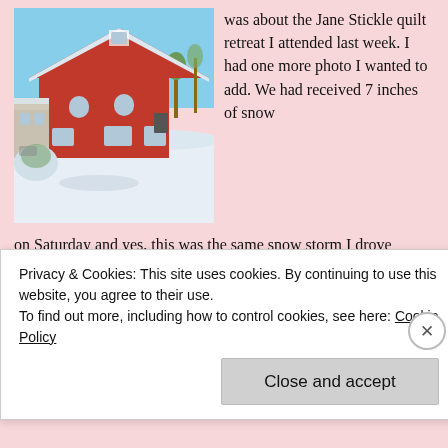[Figure (photo): Red barn with snow-covered roof and grounds, blue sky, winter scene at Caroline's Cotton Cottage]
was about the Jane Stickle quilt retreat I attended last week. I had one more photo I wanted to add. We had received 7 inches of snow on Saturday and yes, this was the same snow storm I drove through to get to Caroline's Cotton Cottage. This picture was taken Sunday morning outside the eating room looking west toward the conference room where we sewed.
Linking up to Esther's Wednesday Wow, Freshly Pieced, Quilting is
Privacy & Cookies: This site uses cookies. By continuing to use this website, you agree to their use.
To find out more, including how to control cookies, see here: Cookie Policy
Close and accept